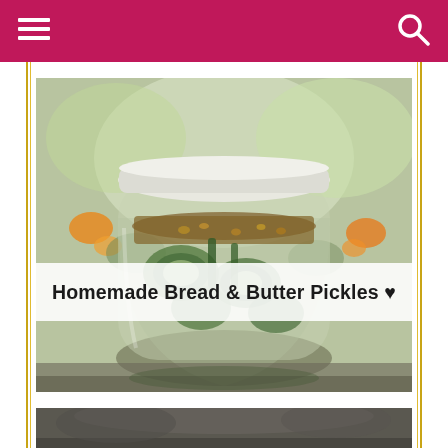☰ [menu icon] [search icon]
[Figure (photo): A glass jar filled with homemade bread and butter pickles (sliced cucumbers with spices visible at top) sitting on a reflective surface with a blurred floral background. A white banner overlay across the middle of the image reads 'Homemade Bread & Butter Pickles ♥']
Homemade Bread & Butter Pickles ♥
[Figure (photo): Partial view of a second food photo at the bottom of the page, cut off.]